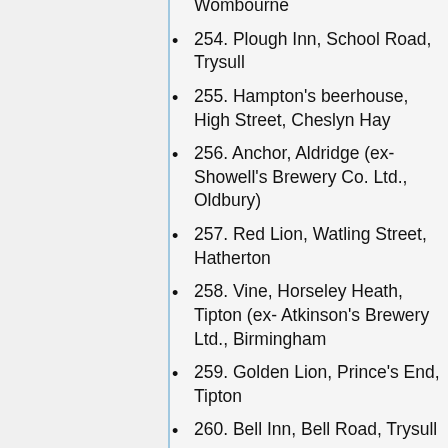Wombourne
254. Plough Inn, School Road, Trysull
255. Hampton's beerhouse, High Street, Cheslyn Hay
256. Anchor, Aldridge (ex- Showell's Brewery Co. Ltd., Oldbury)
257. Red Lion, Watling Street, Hatherton
258. Vine, Horseley Heath, Tipton (ex- Atkinson's Brewery Ltd., Birmingham
259. Golden Lion, Prince's End, Tipton
260. Bell Inn, Bell Road, Trysull
261. Dog & Partridge, Brettell Lane, Amblecote
262. Vaughan Arms, Lapley
263. Leopard, Summer Street,